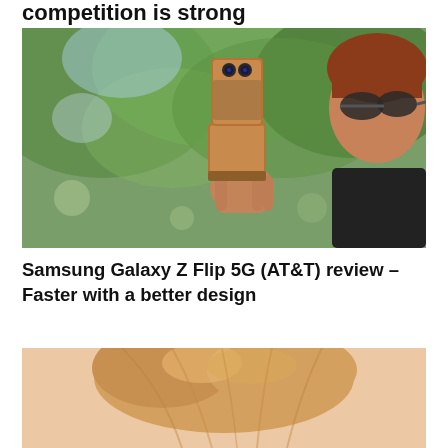competition is strong
[Figure (photo): Person holding a Samsung Galaxy Z Flip 5G smartphone outdoors, with green trees in background. The phone is bronze/gold colored, shown folded partially open.]
Samsung Galaxy Z Flip 5G (AT&T) review – Faster with a better design
[Figure (photo): Partial view of a person with blonde/light hair, photo cropped showing top of head against a light peach/skin-tone background.]